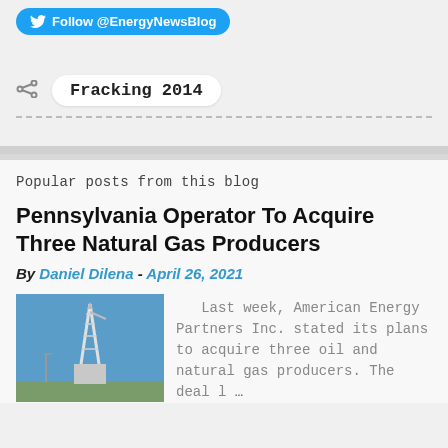[Figure (logo): Twitter Follow button: Follow @EnergyNewsBlog]
Fracking 2014
Popular posts from this blog
Pennsylvania Operator To Acquire Three Natural Gas Producers
By Daniel Dilena - April 26, 2021
[Figure (photo): Drilling rig against blue sky]
Last week, American Energy Partners Inc. stated its plans to acquire three oil and natural gas producers. The deal l …